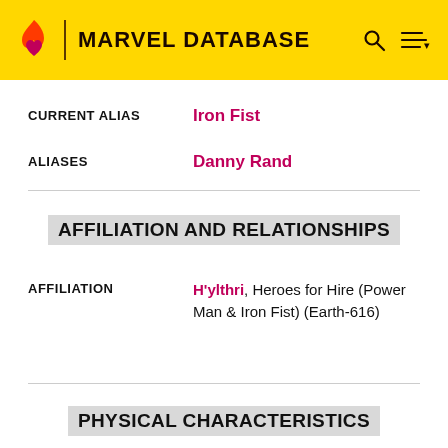MARVEL DATABASE
CURRENT ALIAS: Iron Fist
ALIASES: Danny Rand
AFFILIATION AND RELATIONSHIPS
AFFILIATION: H'ylthri, Heroes for Hire (Power Man & Iron Fist) (Earth-616)
PHYSICAL CHARACTERISTICS
GENDER: Male